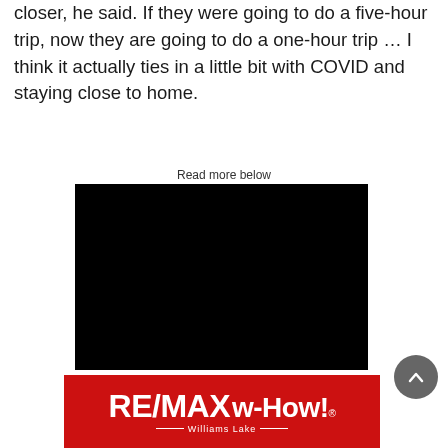closer, he said. If they were going to do a five-hour trip, now they are going to do a one-hour trip … I think it actually ties in a little bit with COVID and staying close to home.
Read more below
[Figure (photo): Black rectangle representing an embedded video or media player]
[Figure (logo): RE/MAX w-How! Williams Lake logo on red background]